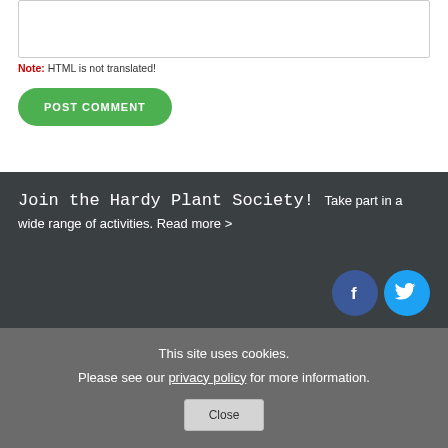Note: HTML is not translated!
POST COMMENT
Join the Hardy Plant Society! Take part in a wide range of activities. Read more >
[Figure (illustration): Facebook and Twitter social media circular icon buttons]
This site uses cookies. Please see our privacy policy for more information.
Close